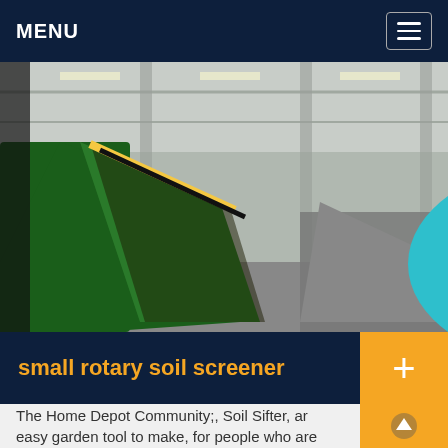MENU
[Figure (photo): Industrial green soil screening/sorting machine inside a large warehouse facility with concrete pillars and overhead lighting]
small rotary soil screener
The Home Depot Community;, Soil Sifter, ar easy garden tool to make, for people who are